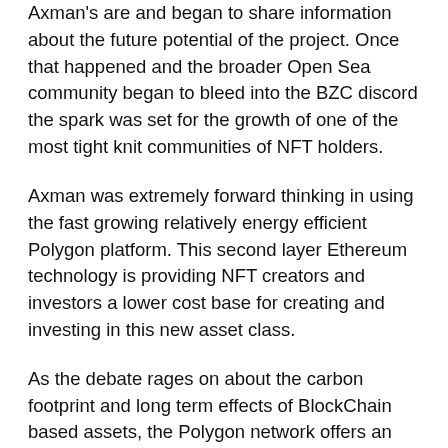Axman's are and began to share information about the future potential of the project. Once that happened and the broader Open Sea community began to bleed into the BZC discord the spark was set for the growth of one of the most tight knit communities of NFT holders.
Axman was extremely forward thinking in using the fast growing relatively energy efficient Polygon platform. This second layer Ethereum technology is providing NFT creators and investors a lower cost base for creating and investing in this new asset class.
As the debate rages on about the carbon footprint and long term effects of BlockChain based assets, the Polygon network offers an extremely energy efficient alternative. Billionaire Zombie Club has proven that Polygon can fill the void as ETH gas fees continue to rise.